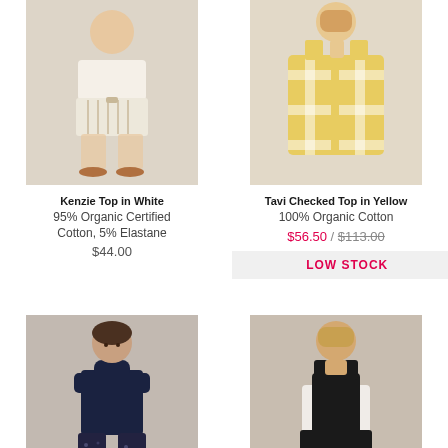[Figure (photo): Woman wearing white striped shorts and white top with sandals]
[Figure (photo): Woman wearing yellow checked tank top, back view]
Kenzie Top in White
Tavi Checked Top in Yellow
95% Organic Certified Cotton, 5% Elastane
100% Organic Cotton
$44.00
$56.50 / $113.00
LOW STOCK
[Figure (photo): Woman wearing navy sleeveless turtleneck with dark floral wide-leg pants]
[Figure (photo): Woman wearing black dungarees over white t-shirt]